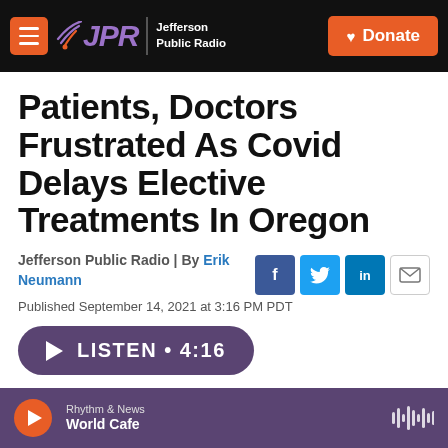JPR Jefferson Public Radio | Donate
Patients, Doctors Frustrated As Covid Delays Elective Treatments In Oregon
Jefferson Public Radio | By Erik Neumann
Published September 14, 2021 at 3:16 PM PDT
LISTEN • 4:16
Rhythm & News — World Cafe